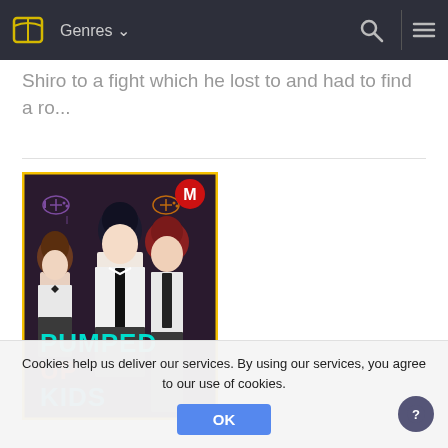Genres
Shiro to a fight which he lost to and had to find a ro...
[Figure (illustration): Manga cover art titled 'PUMPED UP KIDS' showing three anime-style characters in school uniforms against a dark background with game controller icons. A red circle badge with 'M' appears in the top right corner.]
Cookies help us deliver our services. By using our services, you agree to our use of cookies.